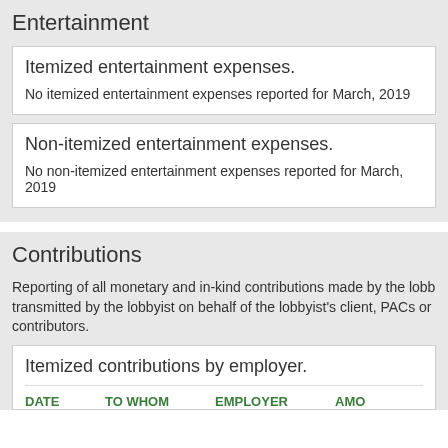Entertainment
Itemized entertainment expenses.
No itemized entertainment expenses reported for March, 2019
Non-itemized entertainment expenses.
No non-itemized entertainment expenses reported for March, 2019
Contributions
Reporting of all monetary and in-kind contributions made by the lobbyist, transmitted by the lobbyist on behalf of the lobbyist's client, PACs or contributors.
Itemized contributions by employer.
| DATE | TO WHOM | EMPLOYER | AMOUNT |
| --- | --- | --- | --- |